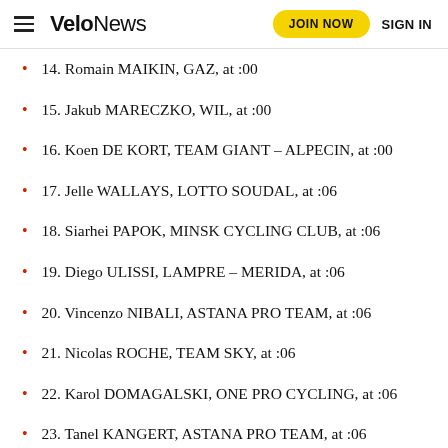VeloNews | JOIN NOW | SIGN IN
14. Romain MAIKIN, GAZ, at :00
15. Jakub MARECZKO, WIL, at :00
16. Koen DE KORT, TEAM GIANT – ALPECIN, at :00
17. Jelle WALLAYS, LOTTO SOUDAL, at :06
18. Siarhei PAPOK, MINSK CYCLING CLUB, at :06
19. Diego ULISSI, LAMPRE – MERIDA, at :06
20. Vincenzo NIBALI, ASTANA PRO TEAM, at :06
21. Nicolas ROCHE, TEAM SKY, at :06
22. Karol DOMAGALSKI, ONE PRO CYCLING, at :06
23. Tanel KANGERT, ASTANA PRO TEAM, at :06